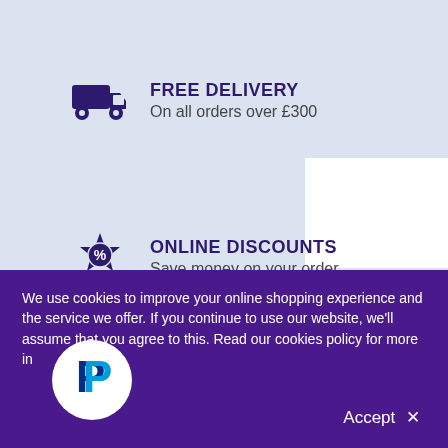FREE DELIVERY
On all orders over £300
ONLINE DISCOUNTS
Save money on your order
FREE ORIGINATION
On engraved glass
We use cookies to improve your online shopping experience and the service we offer. If you continue to use our website, we'll assume that you agree to this. Read our cookies policy for more in
Accept ✕